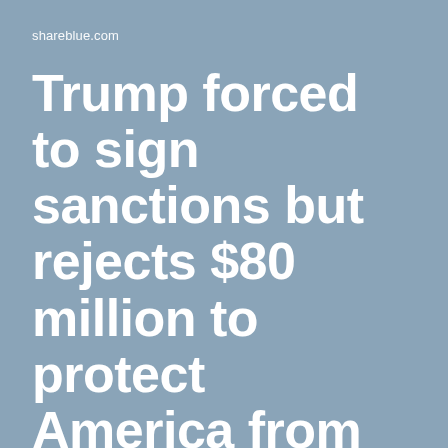shareblue.com
Trump forced to sign sanctions but rejects $80 million to protect America from Russian bots